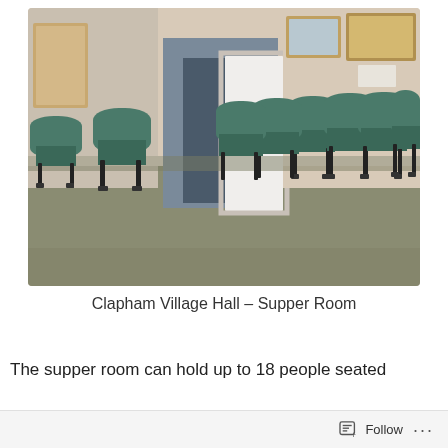[Figure (photo): Interior photo of Clapham Village Hall Supper Room showing green-upholstered chairs arranged around the perimeter of a room with beige walls, framed pictures/maps on the walls, a white door, and grey-green carpet flooring.]
Clapham Village Hall – Supper Room
The supper room can hold up to 18 people seated
Follow ...